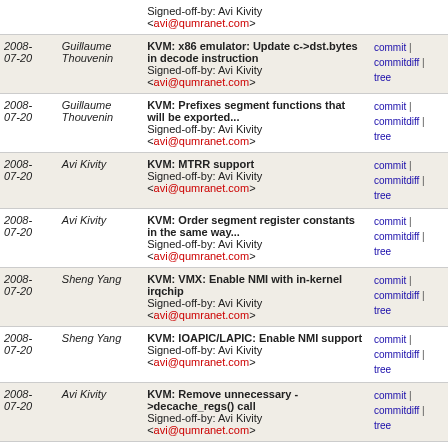| Date | Author | Commit message | Links |
| --- | --- | --- | --- |
| 2008-07-20 | Guillaume Thouvenin | KVM: x86 emulator: Update c->dst.bytes in decode instruction
Signed-off-by: Avi Kivity <avi@qumranet.com> | commit | commitdiff | tree |
| 2008-07-20 | Guillaume Thouvenin | KVM: Prefixes segment functions that will be exported...
Signed-off-by: Avi Kivity <avi@qumranet.com> | commit | commitdiff | tree |
| 2008-07-20 | Avi Kivity | KVM: MTRR support
Signed-off-by: Avi Kivity <avi@qumranet.com> | commit | commitdiff | tree |
| 2008-07-20 | Avi Kivity | KVM: Order segment register constants in the same way...
Signed-off-by: Avi Kivity <avi@qumranet.com> | commit | commitdiff | tree |
| 2008-07-20 | Sheng Yang | KVM: VMX: Enable NMI with in-kernel irqchip
Signed-off-by: Avi Kivity <avi@qumranet.com> | commit | commitdiff | tree |
| 2008-07-20 | Sheng Yang | KVM: IOAPIC/LAPIC: Enable NMI support
Signed-off-by: Avi Kivity <avi@qumranet.com> | commit | commitdiff | tree |
| 2008-07-20 | Avi Kivity | KVM: Remove unnecessary ->decache_regs() call
Signed-off-by: Avi Kivity <avi@qumranet.com> | commit | commitdiff | tree |